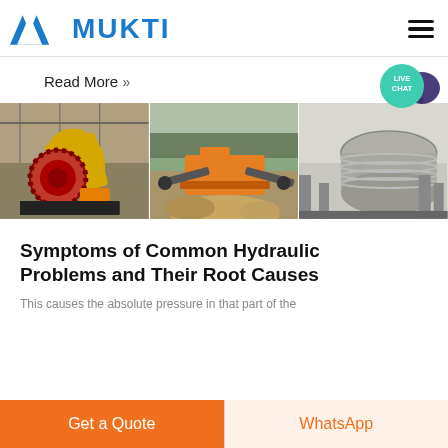[Figure (logo): Mukti company logo with blue triangular emblem and blue MUKTI text, hamburger menu icon on right]
[Figure (illustration): Live Chat teal circular bubble with speech icon overlay]
Read More »
[Figure (photo): Three industrial equipment photos side by side: yellow ball mill, orange crusher/screening plant outdoors with gravel, and gray drum magnetic separator]
Symptoms of Common Hydraulic Problems and Their Root Causes
This causes the absolute pressure in that part of the
Get a Quote
WhatsApp